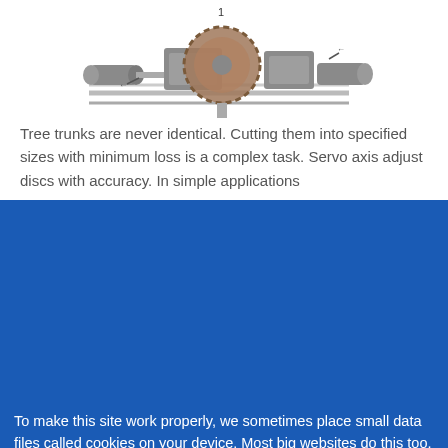[Figure (engineering-diagram): 3D engineering diagram of a servo-driven disc cutting mechanism on linear rails, with labeled axis 1, showing cylindrical actuators and gear disc assembly.]
Tree trunks are never identical. Cutting them into specified sizes with minimum loss is a complex task. Servo axis adjust discs with accuracy. In simple applications
To make this site work properly, we sometimes place small data files called cookies on your device. Most big websites do this too.
✔ Accept
Read more →
Change Settings ⚙